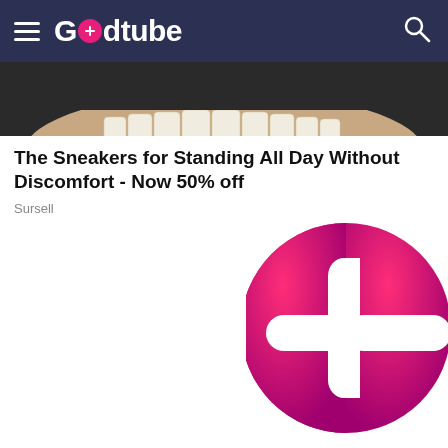Godtube
[Figure (photo): Partial view of a smiling person showing teeth, dark background, advertisement image]
The Sneakers for Standing All Day Without Discomfort - Now 50% off
Sursell
[Figure (logo): Large Godtube pink/magenta logo with a cross/plus symbol inside a circle, lower right of page]